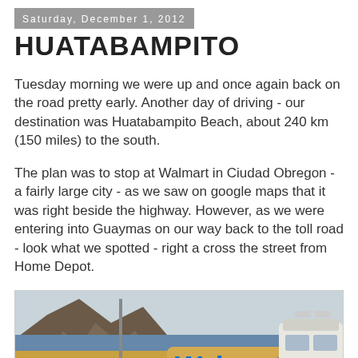Saturday, December 1, 2012
HUATABAMPITO
Tuesday morning we were up and once again back on the road pretty early. Another day of driving - our destination was Huatabampito Beach, about 240 km (150 miles) to the south.
The plan was to stop at Walmart in Ciudad Obregon - a fairly large city - as we saw on google maps that it was right beside the highway. However, as we were entering into Guaymas on our way back to the toll road - look what we spotted - right a cross the street from Home Depot.
[Figure (photo): Photograph of a Walmart store in Mexico with rocky mountains in the background and an RV parked to the right. Signs for Coppel and Canaria visible on the left.]